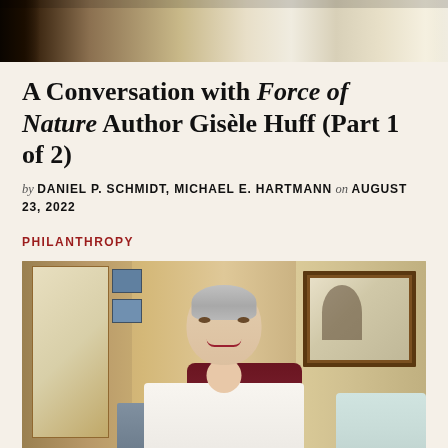[Figure (photo): Cropped top portion of a photo showing partial figures, dark background on edges, light center]
A Conversation with Force of Nature Author Gisèle Huff (Part 1 of 2)
by DANIEL P. SCHMIDT, MICHAEL E. HARTMANN on AUGUST 23, 2022
PHILANTHROPY
[Figure (photo): Video call screenshot of elderly woman with short white/grey hair, wearing white top with necklace, seated in burgundy chair, smiling slightly, home interior background with framed artwork and light blue couch visible]